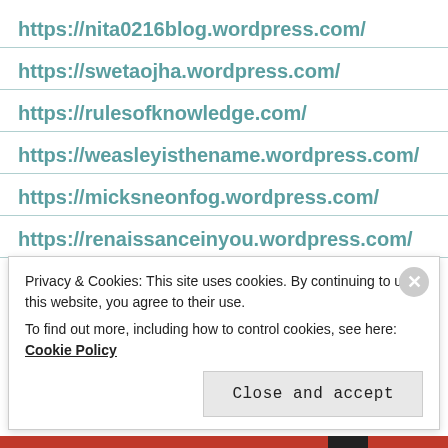https://nita0216blog.wordpress.com/
https://swetaojha.wordpress.com/
https://rulesofknowledge.com/
https://weasleyisthename.wordpress.com/
https://micksneonfog.wordpress.com/
https://renaissanceinyou.wordpress.com/
https://nostrummeneo.wordpress.com/
Privacy & Cookies: This site uses cookies. By continuing to use this website, you agree to their use.
To find out more, including how to control cookies, see here: Cookie Policy
Close and accept